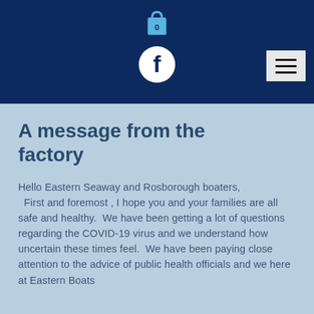[Figure (screenshot): Mobile website header with dark navy background, a shopping bag icon showing '0', a Facebook circular icon, and a hamburger menu button on the right.]
A message from the factory
Hello Eastern Seaway and Rosborough boaters,
  First and foremost , I hope you and your families are all safe and healthy.  We have been getting a lot of questions regarding the COVID-19 virus and we understand how uncertain these times feel.  We have been paying close attention to the advice of public health officials and we here at Eastern Boats